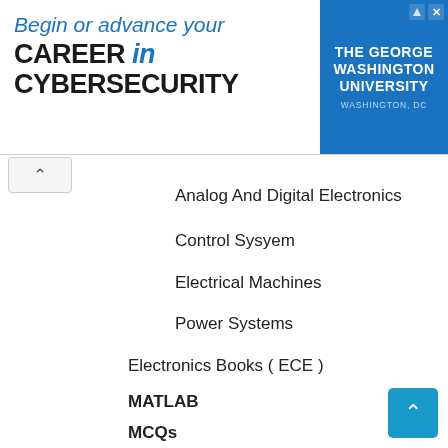[Figure (other): Advertisement banner for The George Washington University: 'Begin or advance your CAREER in CYBERSECURITY']
Analog And Digital Electronics
Control Sysyem
Electrical Machines
Power Systems
Electronics Books ( ECE )
MATLAB
MCQs
Mechanical Books
Automation Techniques
CAD CAM CAE
Engineering Mechanics
Finite Element Analysis